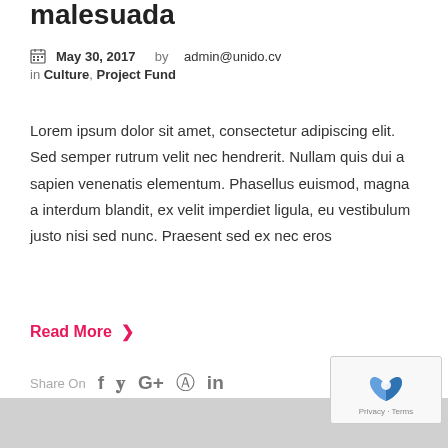malesuada
May 30, 2017  by admin@unido.cv
in Culture, Project Fund
Lorem ipsum dolor sit amet, consectetur adipiscing elit. Sed semper rutrum velit nec hendrerit. Nullam quis dui a sapien venenatis elementum. Phasellus euismod, magna a interdum blandit, ex velit imperdiet ligula, eu vestibulum justo nisi sed nunc. Praesent sed ex nec eros
Read More >
Share On  f  y  G+  ® in